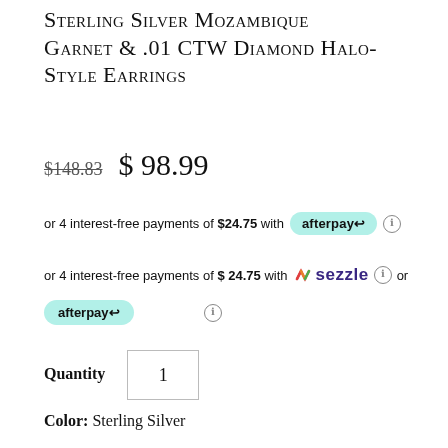Sterling Silver Mozambique Garnet & .01 CTW Diamond Halo-Style Earrings
$148.83  $98.99
or 4 interest-free payments of $24.75 with afterpay ℹ
or 4 interest-free payments of $24.75 with 🔥 sezzle ℹ or afterpay ℹ
Quantity  1
Color: Sterling Silver
Add to Cart
buying & sizing guide